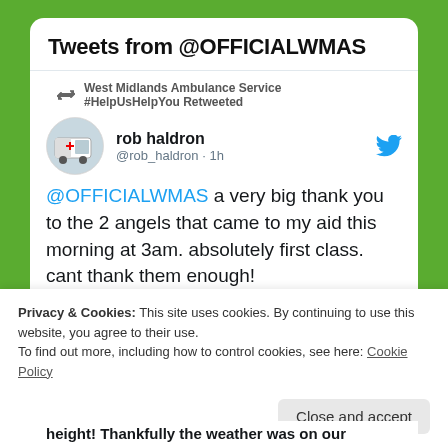Tweets from @OFFICIALWMAS
West Midlands Ambulance Service #HelpUsHelpYou Retweeted
rob haldron @rob_haldron · 1h
@OFFICIALWMAS a very big thank you to the 2 angels that came to my aid this morning at 3am. absolutely first class. cant thank them enough!
♡ 3
West Midlands Ambulance Service
Privacy & Cookies: This site uses cookies. By continuing to use this website, you agree to their use.
To find out more, including how to control cookies, see here: Cookie Policy
Close and accept
height! Thankfully the weather was on our